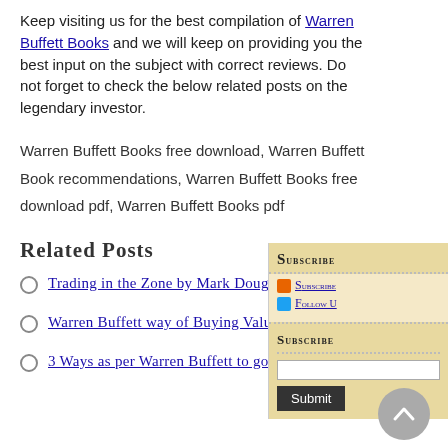Keep visiting us for the best compilation of Warren Buffett Books and we will keep on providing you the best input on the subject with correct reviews. Do not forget to check the below related posts on the legendary investor.
Warren Buffett Books free download, Warren Buffett Book recommendations, Warren Buffett Books free download pdf, Warren Buffett Books pdf
Related Posts
Trading in the Zone by Mark Douglas Ebook
Warren Buffett way of Buying Value Stocks
3 Ways as per Warren Buffett to go Broke